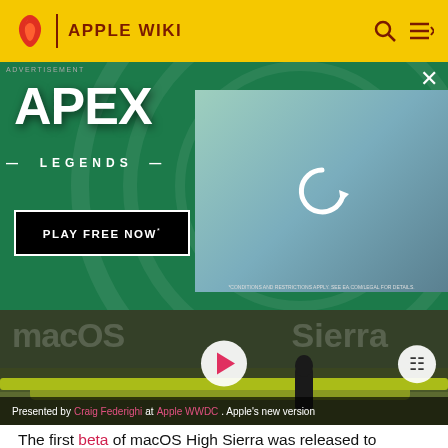APPLE WIKI
[Figure (screenshot): Apex Legends advertisement banner with green background, character with sniper rifle, PLAY FREE NOW button, and close X button]
[Figure (screenshot): macOS High Sierra video player with play button overlay, showing landscape background. Caption reads: Presented by Craig Federighi at Apple WWDC. Apple's new version]
Presented by Craig Federighi at Apple WWDC. Apple's new version
The first beta of macOS High Sierra was released to developers shortly after the keynote of the 2017 Worldwide Developers Conference on June 5. The new features were presented by Craig Federighi, the senior VP